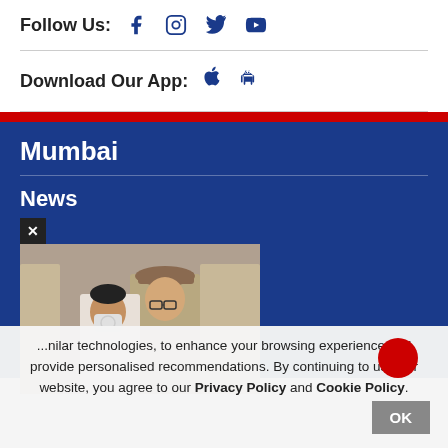Follow Us: [Facebook] [Instagram] [Twitter] [YouTube]
Download Our App: [Apple] [Android]
Mumbai
News
[Figure (photo): Two men, one in a white kurta wearing a face mask, another in police/official uniform with a cap, surrounded by people in uniform]
...nilar technologies, to enhance your browsing experience and provide personalised recommendations. By continuing to use our website, you agree to our Privacy Policy and Cookie Policy.